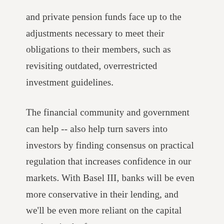and private pension funds face up to the adjustments necessary to meet their obligations to their members, such as revisiting outdated, overrestricted investment guidelines.
The financial community and government can help -- also help turn savers into investors by finding consensus on practical regulation that increases confidence in our markets. With Basel III, banks will be even more conservative in their lending, and we'll be even more reliant on the capital markets in the future.
So it's vital that the financial community and governments find consensus on practical regulation